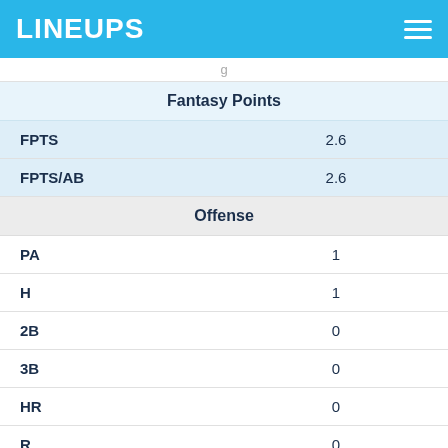LINEUPS
| Stat | Value |
| --- | --- |
| Fantasy Points |  |
| FPTS | 2.6 |
| FPTS/AB | 2.6 |
| Offense |  |
| PA | 1 |
| H | 1 |
| 2B | 0 |
| 3B | 0 |
| HR | 0 |
| R | 0 |
| RBI | 0 |
| SB | 0 |